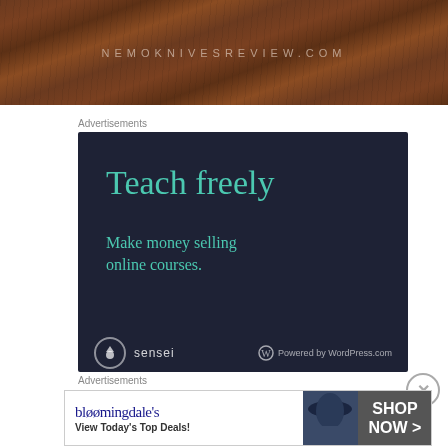[Figure (photo): Wood grain banner image with text NEMOKNIVESREVIEW.COM in spaced letters overlaid on the wood texture]
Advertisements
[Figure (screenshot): Sensei advertisement on dark navy background. Large teal text reads 'Teach freely'. Smaller teal text reads 'Make money selling online courses.' Bottom shows Sensei logo and 'Powered by WordPress.com']
Advertisements
[Figure (screenshot): Bloomingdales advertisement. Shows Bloomingdales logo in blue serif font, tagline 'View Today's Top Deals!', woman wearing wide-brim hat, and 'SHOP NOW >' button in dark box]